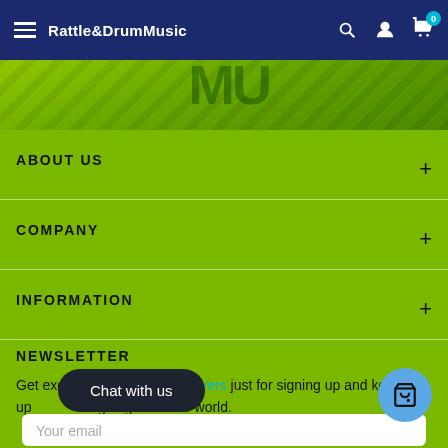Rattle&DrumMusic
[Figure (screenshot): Green hero banner with diagonal stripes and partial text overlay]
ABOUT US
COMPANY
INFORMATION
NEWSLETTER
Get exclusive offers, 250 Quavers just for signing up and keep up to date with what's going on in our world.
Your email